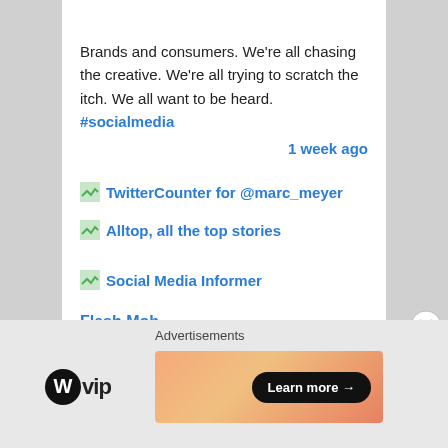Brands and consumers. We're all chasing the creative. We're all trying to scratch the itch. We all want to be heard. #socialmedia
1 week ago
TwitterCounter for @marc_meyer
Alltop, all the top stories
Social Media Informer
Flash Mob
Hashtag
RFP
UGC
Lurker
Advertisements